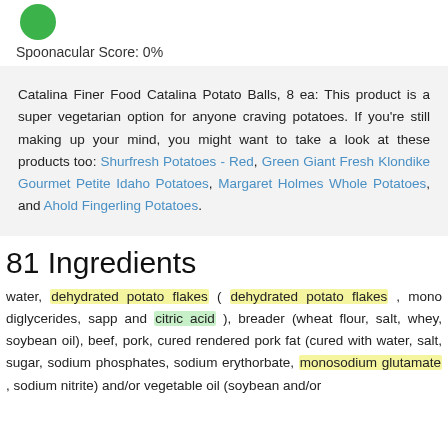[Figure (other): Green circle icon representing Spoonacular Score]
Spoonacular Score: 0%
Catalina Finer Food Catalina Potato Balls, 8 ea: This product is a super vegetarian option for anyone craving potatoes. If you're still making up your mind, you might want to take a look at these products too: Shurfresh Potatoes - Red, Green Giant Fresh Klondike Gourmet Petite Idaho Potatoes, Margaret Holmes Whole Potatoes, and Ahold Fingerling Potatoes.
81 Ingredients
water, dehydrated potato flakes ( dehydrated potato flakes , mono diglycerides, sapp and citric acid ), breader (wheat flour, salt, whey, soybean oil), beef, pork, cured rendered pork fat (cured with water, salt, sugar, sodium phosphates, sodium erythorbate, monosodium glutamate , sodium nitrite) and/or vegetable oil (soybean and/or